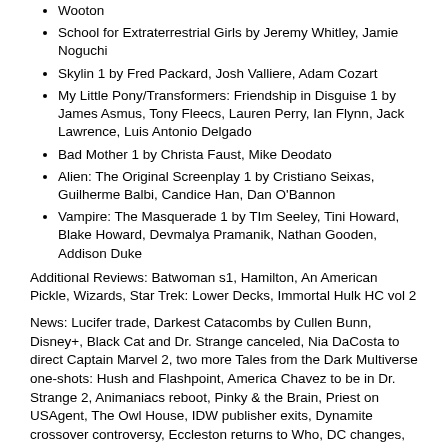Wooton
School for Extraterrestrial Girls by Jeremy Whitley, Jamie Noguchi
Skylin 1 by Fred Packard, Josh Valliere, Adam Cozart
My Little Pony/Transformers: Friendship in Disguise 1 by James Asmus, Tony Fleecs, Lauren Perry, Ian Flynn, Jack Lawrence, Luis Antonio Delgado
Bad Mother 1 by Christa Faust, Mike Deodato
Alien: The Original Screenplay 1 by Cristiano Seixas, Guilherme Balbi, Candice Han, Dan O'Bannon
Vampire: The Masquerade 1 by TIm Seeley, Tini Howard, Blake Howard, Devmalya Pramanik, Nathan Gooden, Addison Duke
Additional Reviews: Batwoman s1, Hamilton, An American Pickle, Wizards, Star Trek: Lower Decks, Immortal Hulk HC vol 2
News: Lucifer trade, Darkest Catacombs by Cullen Bunn, Disney+, Black Cat and Dr. Strange canceled, Nia DaCosta to direct Captain Marvel 2, two more Tales from the Dark Multiverse one-shots: Hush and Flashpoint, America Chavez to be in Dr. Strange 2, Animaniacs reboot, Pinky & the Brain, Priest on USAgent, The Owl House, IDW publisher exits, Dynamite crossover controversy, Eccleston returns to Who, DC changes, Wonder Woman cover, Al Ewing record breaker, Sweet Tooth revival, Enter the Phoenix, Avatar remake falling apart
Trailers: Ratched, I'm Thinking of Ending Things
Comics Countdown: